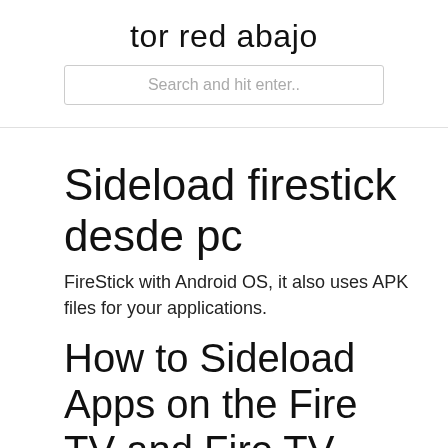tor red abajo
Search and hit enter..
Sideload firestick desde pc
FireStick with Android OS, it also uses APK files for your applications.
How to Sideload Apps on the Fire TV and Fire TV Stick
40,4 x 17,6 x 11,45 10,3 gramos. PANTALLA. AMOLED de 1,1